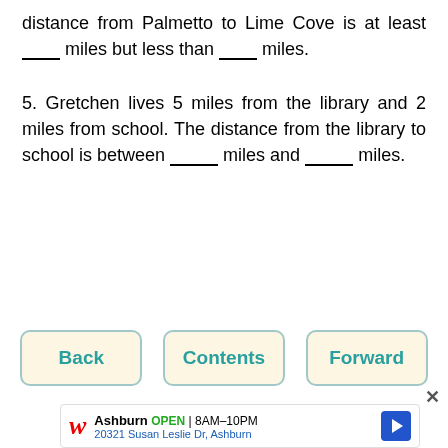distance from Palmetto to Lime Cove is at least ___ miles but less than ___ miles.
5. Gretchen lives 5 miles from the library and 2 miles from school. The distance from the library to school is between ___ miles and ___ miles.
Back | Contents | Forward
[Figure (screenshot): Walgreens advertisement showing Ashburn store open 8AM-10PM at 20321 Susan Leslie Dr, Ashburn with navigation icon]